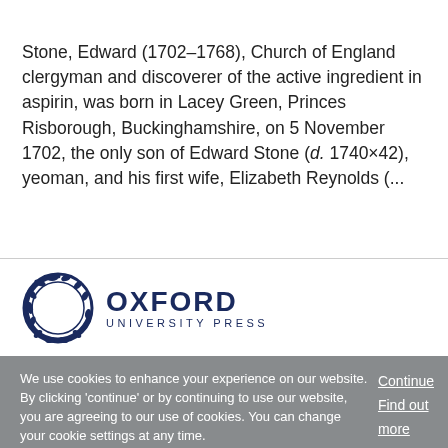Stone, Edward (1702–1768), Church of England clergyman and discoverer of the active ingredient in aspirin, was born in Lacey Green, Princes Risborough, Buckinghamshire, on 5 November 1702, the only son of Edward Stone (d. 1740×42), yeoman, and his first wife, Elizabeth Reynolds (...
[Figure (logo): Oxford University Press logo with circular quill/leaf emblem in navy blue and the text OXFORD UNIVERSITY PRESS]
We use cookies to enhance your experience on our website. By clicking 'continue' or by continuing to use our website, you are agreeing to our use of cookies. You can change your cookie settings at any time.
Continue
Find out more